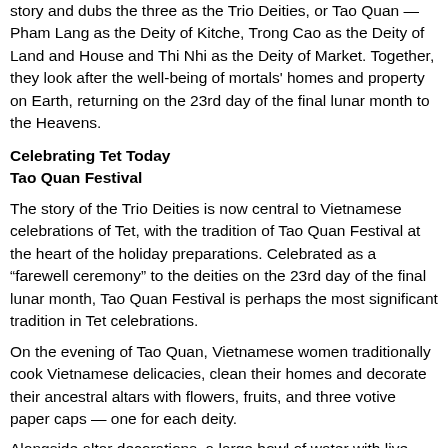story and dubs the three as the Trio Deities, or Tao Quan — Pham Lang as the Deity of Kitche, Trong Cao as the Deity of Land and House and Thi Nhi as the Deity of Market. Together, they look after the well-being of mortals' homes and property on Earth, returning on the 23rd day of the final lunar month to the Heavens.
Celebrating Tet Today
Tao Quan Festival
The story of the Trio Deities is now central to Vietnamese celebrations of Tet, with the tradition of Tao Quan Festival at the heart of the holiday preparations. Celebrated as a “farewell ceremony” to the deities on the 23rd day of the final lunar month, Tao Quan Festival is perhaps the most significant tradition in Tet celebrations.
On the evening of Tao Quan, Vietnamese women traditionally cook Vietnamese delicacies, clean their homes and decorate their ancestral altars with flowers, fruits, and three votive paper caps — one for each deity.
Alongside altar decorations, a large bowl of water with live carp fish